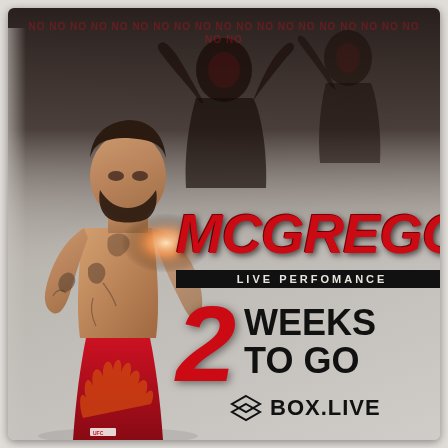[Figure (photo): Promotional image for McGregor live performance. Dark dramatic background with two fighters, one in foreground (UFC fighter shirtless with tattoos and red UFC shorts), another in background raising fist. Red and black color scheme.]
MCGREGOR
LIVE PERFOMANCE
2 WEEKS TO GO
BOX.LIVE